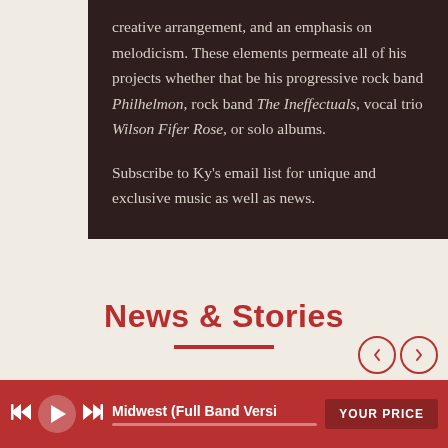creative arrangement, and an emphasis on melodicism. These elements permeate all of his projects whether that be his progressive rock band Philhelmon, rock band The Ineffectuals, vocal trio Wilson Fifer Rose, or solo albums.

Subscribe to Ky's email list for unique and exclusive music as well as news.
News & Stories
[Figure (other): Music player bar at bottom: skip-back, play, skip-forward controls, track name 'Midwest (Full Band Versi', progress bar, and 'YOUR PRICE' button. Navigation arrows (left/right) above right side.]